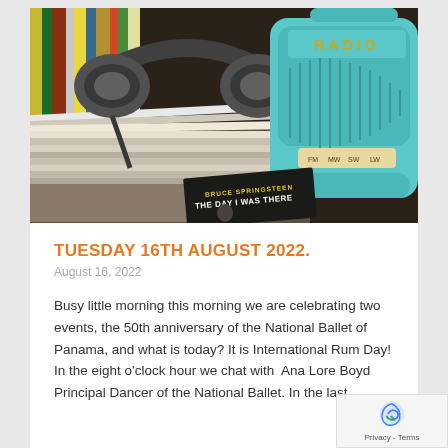[Figure (photo): Photo of headphones resting on a stack of vinyl records next to a teal/turquoise retro radio with 'RADIO' text and band buttons (FM, MW, SW, LW), and a Bruce Springsteen 'The Day I Was There' book/record visible in the foreground.]
TUESDAY 16TH AUGUST 2022.
August 16, 2022
Busy little morning this morning we are celebrating two events, the 50th anniversary of the National Ballet of Panama, and what is today? It is International Rum Day! In the eight o'clock hour we chat with  Ana Lore Boyd Principal Dancer of the National Ballet. In the last